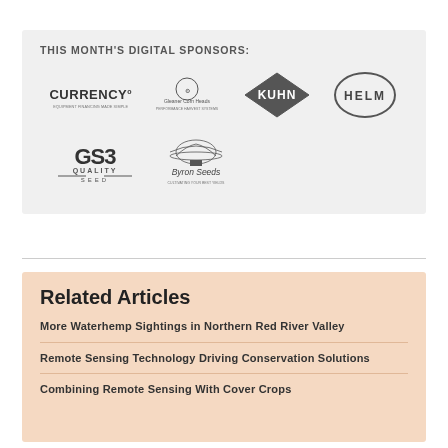THIS MONTH'S DIGITAL SPONSORS:
[Figure (logo): Sponsor logos: Currency, Gleaner Corn Heads, KUHN, HELM (top row); GS3 Quality Seed, Byron Seeds (bottom row)]
Related Articles
More Waterhemp Sightings in Northern Red River Valley
Remote Sensing Technology Driving Conservation Solutions
Combining Remote Sensing With Cover Crops